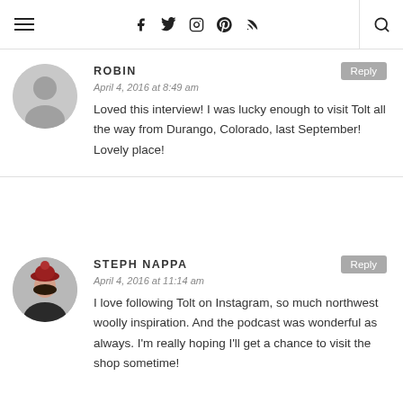Navigation bar with menu, social icons (facebook, twitter, instagram, pinterest, rss), and search
ROBIN — April 4, 2016 at 8:49 am — Loved this interview! I was lucky enough to visit Tolt all the way from Durango, Colorado, last September! Lovely place!
STEPH NAPPA — April 4, 2016 at 11:14 am — I love following Tolt on Instagram, so much northwest woolly inspiration. And the podcast was wonderful as always. I'm really hoping I'll get a chance to visit the shop sometime!